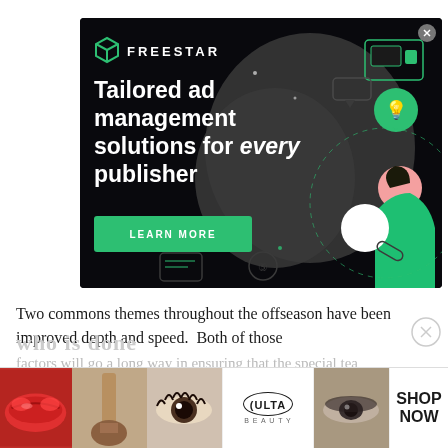[Figure (screenshot): Freestar advertisement banner on dark background with headline 'Tailored ad management solutions for every publisher' and a green LEARN MORE button. Gray blob shape with illustrated figure on right side. Decorative icons scattered around.]
Two commons themes throughout the offseason have been improved depth and speed.  Both of those
factors will go a long way in ensuring that the special tea...me.
who is done
[Figure (screenshot): Ulta Beauty advertisement banner showing makeup images (red lips, makeup brush, eyes with mascara, eyes with eyeliner), Ulta Beauty logo, and SHOP NOW button]